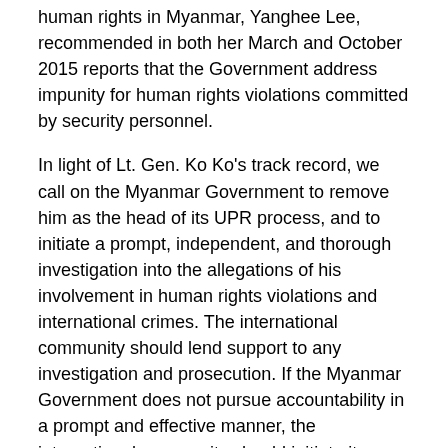human rights in Myanmar, Yanghee Lee, recommended in both her March and October 2015 reports that the Government address impunity for human rights violations committed by security personnel.
In light of Lt. Gen. Ko Ko's track record, we call on the Myanmar Government to remove him as the head of its UPR process, and to initiate a prompt, independent, and thorough investigation into the allegations of his involvement in human rights violations and international crimes. The international community should lend support to any investigation and prosecution. If the Myanmar Government does not pursue accountability in a prompt and effective manner, the international community should initiate its own investigation into Lt. Gen. Ko Ko's responsibility for human rights violations and international crimes, and governments should pursue appropriate legal action against him if he enters their territory under the principle of universal jurisdiction.